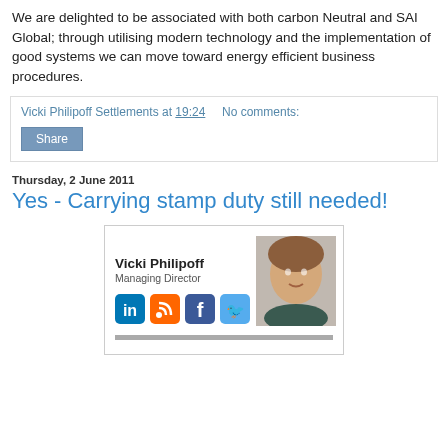We are delighted to be associated with both carbon Neutral and SAI Global; through utilising modern technology and the implementation of good systems we can move toward energy efficient business procedures.
Vicki Philipoff Settlements at 19:24    No comments:
Share
Thursday, 2 June 2011
Yes - Carrying stamp duty still needed!
[Figure (photo): Profile card showing Vicki Philipoff, Managing Director, with a headshot photo and social media icons (LinkedIn, RSS, Facebook, Twitter)]